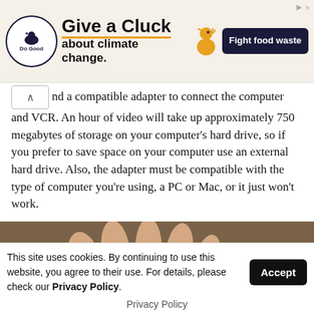[Figure (other): Advertisement banner: 'Give a Cluck about climate change. Fight food waste' with Do Good logo and chicken illustration]
nd a compatible adapter to connect the computer and VCR. An hour of video will take up approximately 750 megabytes of storage on your computer's hard drive, so if you prefer to save space on your computer use an external hard drive. Also, the adapter must be compatible with the type of computer you're using, a PC or Mac, or it just won't work.
[Figure (photo): Close-up photograph of a hand resting on a flat surface, fingers spread]
This site uses cookies. By continuing to use this website, you agree to their use. For details, please check our Privacy Policy.
Privacy Policy